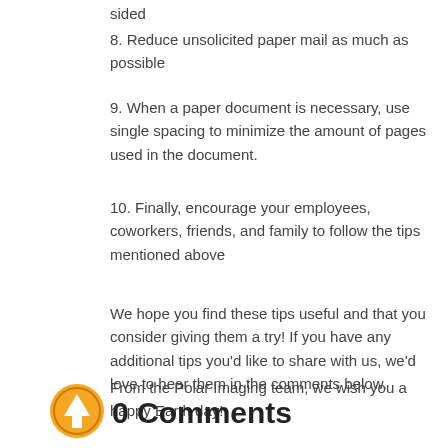sided
8. Reduce unsolicited paper mail as much as possible
9. When a paper document is necessary, use single spacing to minimize the amount of pages used in the document.
10. Finally, encourage your employees, coworkers, friends, and family to follow the tips mentioned above
We hope you find these tips useful and that you consider giving them a try! If you have any additional tips you'd like to share with us, we'd love to hear them in the comments below.
From the Polar Imaging team, we wish you a happy Earth day!
0 Comments